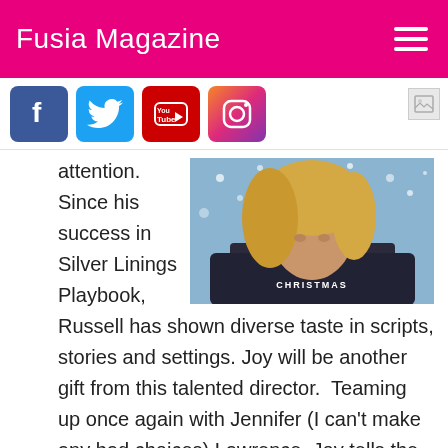Fusia Magazine
[Figure (screenshot): Social media icons row: Facebook, Twitter, YouTube, Instagram]
[Figure (photo): Movie poster for Joy (Christmas) showing a blonde woman looking upward with snow falling]
attention. Since his success in Silver Linings Playbook, Russell has shown diverse taste in scripts, stories and settings. Joy will be another gift from this talented director.  Teaming up once again with Jennifer (I can't make any bad choices) Lawrence, Joy tells the